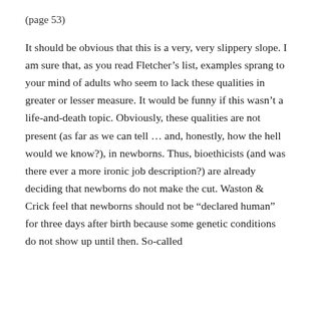(page 53)
It should be obvious that this is a very, very slippery slope. I am sure that, as you read Fletcher’s list, examples sprang to your mind of adults who seem to lack these qualities in greater or lesser measure. It would be funny if this wasn’t a life-and-death topic. Obviously, these qualities are not present (as far as we can tell … and, honestly, how the hell would we know?), in newborns. Thus, bioethicists (and was there ever a more ironic job description?) are already deciding that newborns do not make the cut. Waston & Crick feel that newborns should not be “declared human” for three days after birth because some genetic conditions do not show up until then. So-called bioethicists have come to the conclusion. So-called